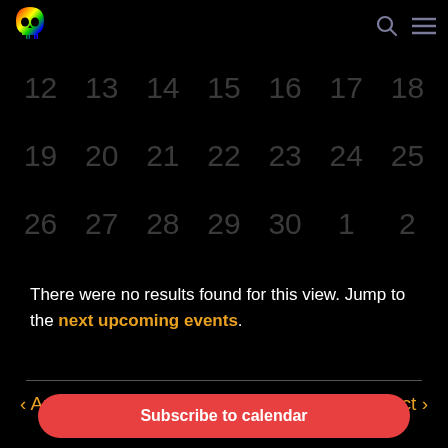[Figure (logo): Rainbow-colored skull logo in top left corner]
[Figure (infographic): Calendar grid showing dates 12-18, 19-25, 26-30 and 1-2 on dark background]
There were no results found for this view. Jump to the next upcoming events.
< Aug    Today    Oct >
Subscribe to calendar